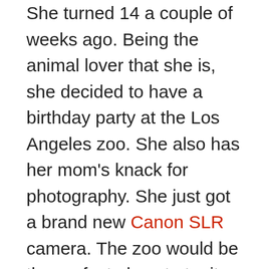She turned 14 a couple of weeks ago. Being the animal lover that she is, she decided to have a birthday party at the Los Angeles zoo. She also has her mom's knack for photography. She just got a brand new Canon SLR camera. The zoo would be the perfect place to try it out. I told you that to tell you this. During the day on her birthday, when I knew she's be home, I called to wish her a happy birthday. I wanted to be sure she had gotten my gift. I ended up spending some time on the phone with Serena as she looked